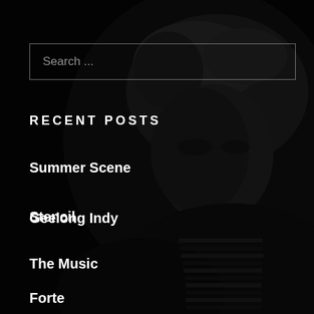[Figure (photo): Black and white portrait photo of a man with messy hair wearing a striped shirt, looking intensely at the camera against a dark background]
Search ...
RECENT POSTS
Summer Scene
Stencil
Geelong Indy
The Music
Forte